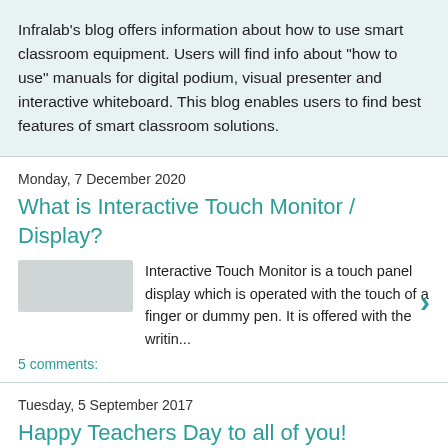Infralab's blog offers information about how to use smart classroom equipment. Users will find info about "how to use" manuals for digital podium, visual presenter and interactive whiteboard. This blog enables users to find best features of smart classroom solutions.
Monday, 7 December 2020
What is Interactive Touch Monitor / Display?
Interactive Touch Monitor is a touch panel display which is operated with the touch of a finger or dummy pen. It is offered with the writin...
5 comments:
Tuesday, 5 September 2017
Happy Teachers Day to all of you!
Infralab wishes all teachers a very very Happy...